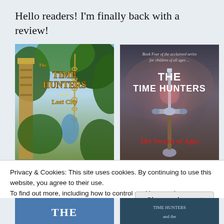Hello readers! I'm finally back with a review!
[Figure (illustration): Book cover of 'The Time Hunters and the Lost City' showing jungle ruins with golden text]
[Figure (illustration): Book cover of 'The Time Hunters: The Sword of Ages' showing a sword with red gothic text, subtitle 'Book Four of the acclaimed series for children of all ages...']
Privacy & Cookies: This site uses cookies. By continuing to use this website, you agree to their use.
To find out more, including how to control cookies, see here: Cookie Policy
Close and accept